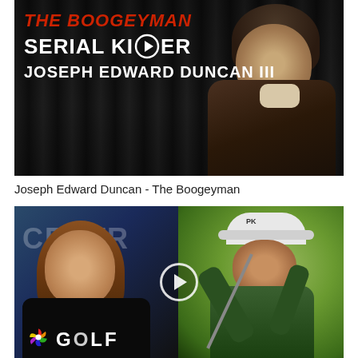[Figure (photo): Video thumbnail showing text 'THE BOOGEYMAN' in red italic, 'SERIAL KILLER' in white bold with a circular play icon replacing letters, 'JOSEPH EDWARD DUNCAN III' in white bold, and a man in a dark sweater against a black background.]
Joseph Edward Duncan - The Boogeyman
[Figure (photo): Split image: left side shows a woman in a TV studio setting with NBC GOLF logo; right side shows a golfer mid-swing wearing a white cap. A circular play button icon is centered between the two halves.]